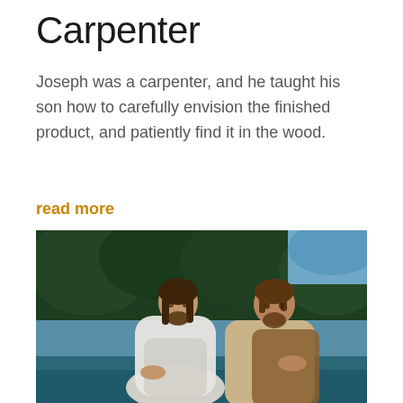Carpenter
Joseph was a carpenter, and he taught his son how to carefully envision the finished product, and patiently find it in the wood.
read more
[Figure (photo): Painting of two men standing in water, one in a white robe looking upward, the other beside him in a tan robe, with trees in the background — depicting a baptism scene.]